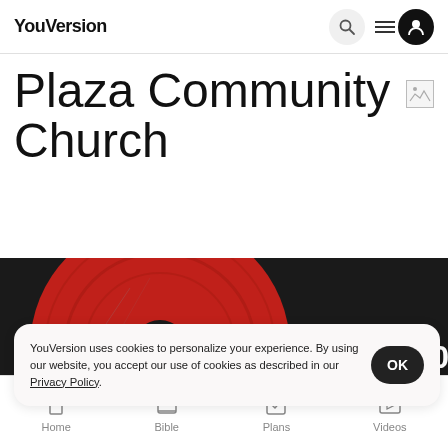YouVersion
Plaza Community Church
[Figure (photo): Hero image with a red vinyl record and text 'ISAIAH 40: 31' in white on dark background]
YouVersion uses cookies to personalize your experience. By using our website, you accept our use of cookies as described in our Privacy Policy.
Home  Bible  Plans  Videos